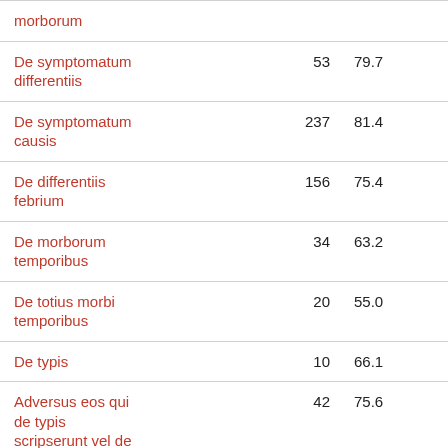|  |  |  |
| --- | --- | --- |
| morborum |  |  |
| De symptomatum differentiis | 53 | 79.7 |
| De symptomatum causis | 237 | 81.4 |
| De differentiis febrium | 156 | 75.4 |
| De morborum temporibus | 34 | 63.2 |
| De totius morbi temporibus | 20 | 55.0 |
| De typis | 10 | 66.1 |
| Adversus eos qui de typis scripserunt vel de circuitibus | 42 | 75.6 |